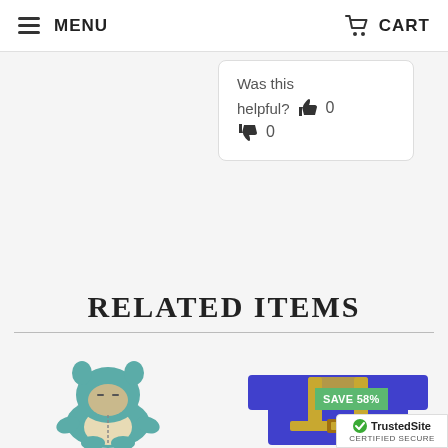MENU | CART
Was this
helpful? 👍 0
👎 0
RELATED ITEMS
[Figure (photo): Snorlax Pokemon full-body costume, teal/blue plush with cream belly, hoodie ears, for kids]
[Figure (photo): Blue minion-style t-shirt with printed overalls design, SAVE 58% green badge overlay]
[Figure (logo): TrustedSite CERTIFIED SECURE badge with green checkmark]